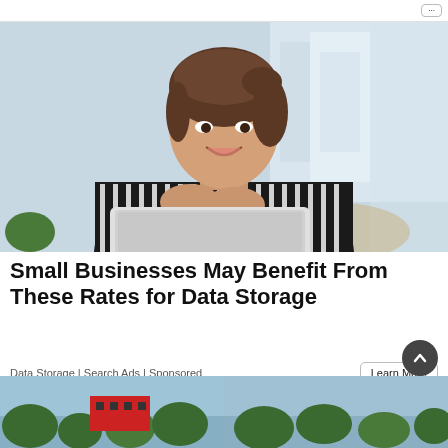[Figure (photo): Woman in striped shirt smiling at laptop in bright office]
Small Businesses May Benefit From These Rates for Data Storage
Data Storage | Search Ads | Sponsored
[Figure (photo): Partial view of buildings with trees and red signage at bottom of page]